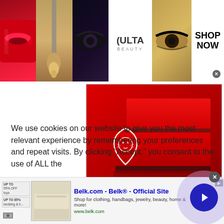[Figure (screenshot): Ulta Beauty advertisement banner with makeup images (lips, brush, eyes, Ulta logo) and SHOP NOW text]
[Figure (photo): Red gift boxes stacked on red background with white lion shield logo/watermark]
We use cookies on our website to give you the most relevant experience by remembering your preferences and repeat visits. By clicking “Accept,” you consent to the use of ALL the
[Figure (screenshot): Belk.com advertisement: 'Belk.com - Belk® - Official Site' with bedding thumbnail image, description 'Shop for clothing, handbags, jewelry, beauty, home & more!' and www.belk.com URL, with blue arrow button and close X]